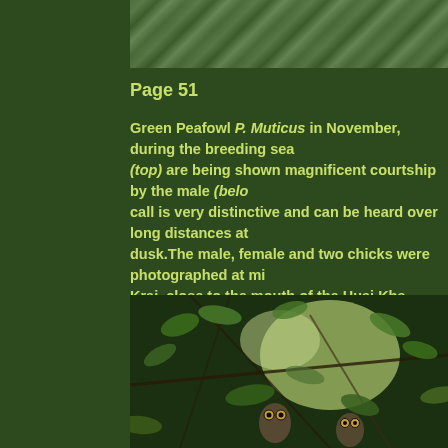[Figure (photo): Top portion of a wildlife photograph, showing green foliage]
Page 51
Green Peafowl P. Muticus in November, during the breeding season (top) are being shown magnificent courtship by the male (below). Its call is very distinctive and can be heard over long distances at dusk.The male, female and two chicks were photographed at mi... Krai, close to the mouth of the Huai Kha Khaeng. Peafowl are b... numbers are stable at the moment. However, they have disappe... areas of Thailand with the possible exception of a few in Mae Yo... Phrae province, and the Salawin Wildlife Sanctuary in Mae Hon...
[Figure (photo): Wildlife photograph showing owls perched among green leafy branches in a forest setting]